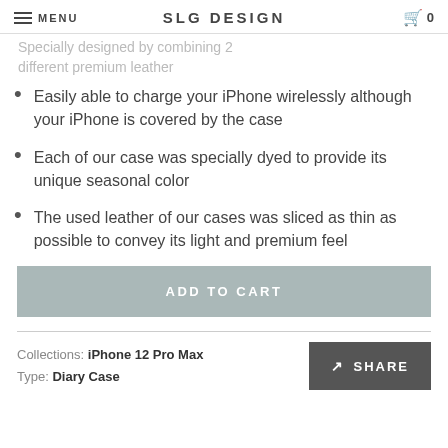MENU  SLG DESIGN  0
Specially designed by combining 2 different premium leather
Easily able to charge your iPhone wirelessly although your iPhone is covered by the case
Each of our case was specially dyed to provide its unique seasonal color
The used leather of our cases was sliced as thin as possible to convey its light and premium feel
ADD TO CART
Collections: iPhone 12 Pro Max
Type: Diary Case
SHARE